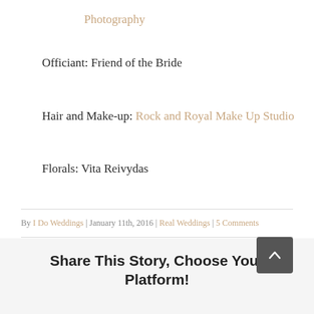Photography
Officiant: Friend of the Bride
Hair and Make-up: Rock and Royal Make Up Studio
Florals: Vita Reivydas
By I Do Weddings | January 11th, 2016 | Real Weddings | 5 Comments
Share This Story, Choose Your Platform!